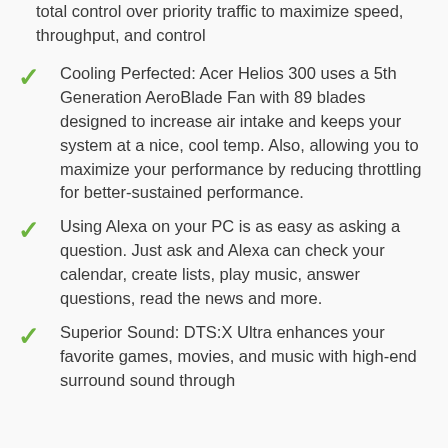total control over priority traffic to maximize speed, throughput, and control
Cooling Perfected: Acer Helios 300 uses a 5th Generation AeroBlade Fan with 89 blades designed to increase air intake and keeps your system at a nice, cool temp. Also, allowing you to maximize your performance by reducing throttling for better-sustained performance.
Using Alexa on your PC is as easy as asking a question. Just ask and Alexa can check your calendar, create lists, play music, answer questions, read the news and more.
Superior Sound: DTS:X Ultra enhances your favorite games, movies, and music with high-end surround sound through